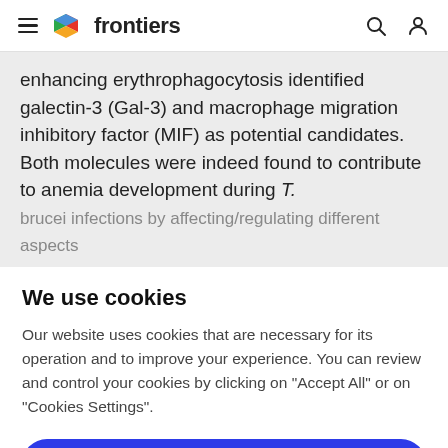frontiers (navigation bar with hamburger menu, logo, search and user icons)
enhancing erythrophagocytosis identified galectin-3 (Gal-3) and macrophage migration inhibitory factor (MIF) as potential candidates. Both molecules were indeed found to contribute to anemia development during T. brucei infections by affecting/regulating different aspects
We use cookies
Our website uses cookies that are necessary for its operation and to improve your experience. You can review and control your cookies by clicking on "Accept All" or on "Cookies Settings".
Accept Cookies
Cookies Settings